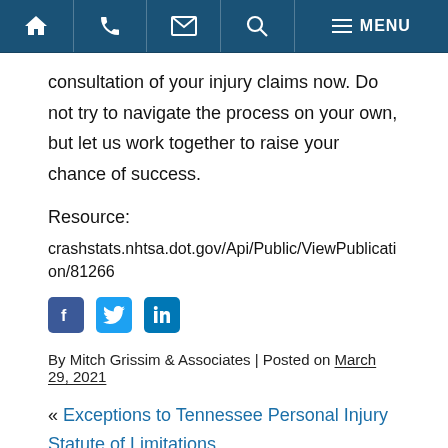Navigation bar with home, phone, email, search, and menu icons
consultation of your injury claims now. Do not try to navigate the process on your own, but let us work together to raise your chance of success.
Resource:
crashstats.nhtsa.dot.gov/Api/Public/ViewPublication/81266
[Figure (other): Social media icons: Facebook, Twitter, LinkedIn]
By Mitch Grissim & Associates | Posted on March 29, 2021
« Exceptions to Tennessee Personal Injury Statute of Limitations
Internal Injuries Caused by Car Accidents »